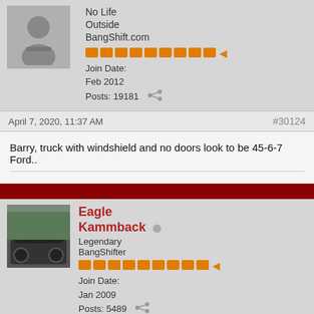No Life Outside BangShift.com
Join Date: Feb 2012
Posts: 19181
April 7, 2020, 11:37 AM
#30124
Barry, truck with windshield and no doors look to be 45-6-7 Ford..
Eagle Kammback
Legendary BangShifter
Join Date: Jan 2009
Posts: 5489
April 18, 2020, 10:15 AM
#30125